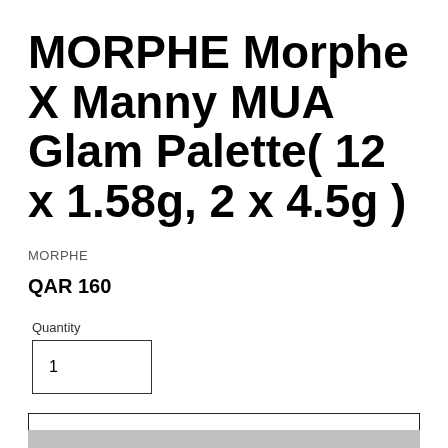MORPHE Morphe X Manny MUA Glam Palette( 12 x 1.58g, 2 x 4.5g )
MORPHE
QAR 160
Quantity
1
ADD TO CART